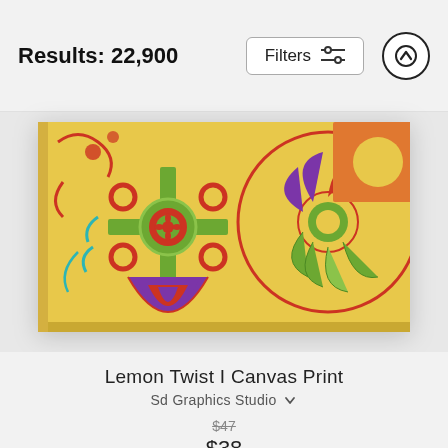Results: 22,900
[Figure (screenshot): Filters button with sliders icon and up arrow circle button in top bar]
[Figure (photo): Lemon Twist I Canvas Print - colorful mandala/folk art pattern on yellow background with red, purple, green and teal decorative motifs, displayed as a canvas wrap]
Lemon Twist I Canvas Print
Sd Graphics Studio
$47 (strikethrough) $38